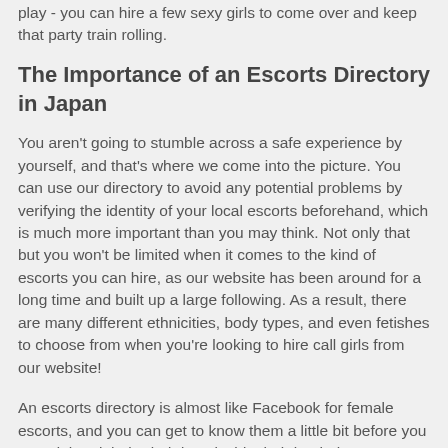play - you can hire a few sexy girls to come over and keep that party train rolling.
The Importance of an Escorts Directory in Japan
You aren't going to stumble across a safe experience by yourself, and that's where we come into the picture. You can use our directory to avoid any potential problems by verifying the identity of your local escorts beforehand, which is much more important than you may think. Not only that but you won't be limited when it comes to the kind of escorts you can hire, as our website has been around for a long time and built up a large following. As a result, there are many different ethnicities, body types, and even fetishes to choose from when you're looking to hire call girls from our website!
An escorts directory is almost like Facebook for female escorts, and you can get to know them a little bit before you spend the night buried deep inside their butthole.